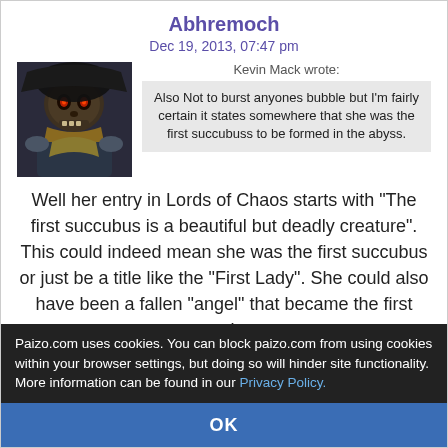Abhremoch
Dec 19, 2013, 07:47 pm
[Figure (photo): User avatar showing a fantasy skull creature with glowing red eyes, golden armor and dark hat]
Kevin Mack wrote:
Also Not to burst anyones bubble but I'm fairly certain it states somewhere that she was the first succubuss to be formed in the abyss.
Well her entry in Lords of Chaos starts with "The first succubus is a beautiful but deadly creature". This could indeed mean she was the first succubus or just be a title like the "First Lady". She could also have been a fallen "angel" that became the first succubus.

I have not read her entry in this adventure path, but unless something very specific was mentioned, the
Paizo.com uses cookies. You can block paizo.com from using cookies within your browser settings, but doing so will hinder site functionality. More information can be found in our Privacy Policy.
OK